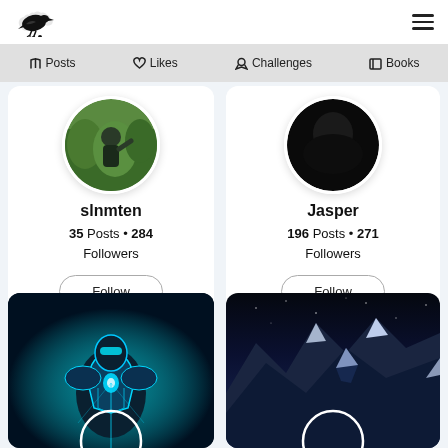[Figure (screenshot): App top navigation bar with crow/raven logo on left and hamburger menu icon on right]
Posts  Likes  Challenges  Books
[Figure (screenshot): Profile card for user 'slnmten' with avatar photo of person outdoors, 35 Posts, 284 Followers, Follow button]
[Figure (screenshot): Profile card for user 'Jasper' with dark/black avatar, 196 Posts, 271 Followers, Follow button]
[Figure (screenshot): Bottom image card showing sci-fi fantasy character in teal glowing armor with profile circle outline]
[Figure (screenshot): Bottom image card showing snowy blue mountain peaks at night with profile circle outline]